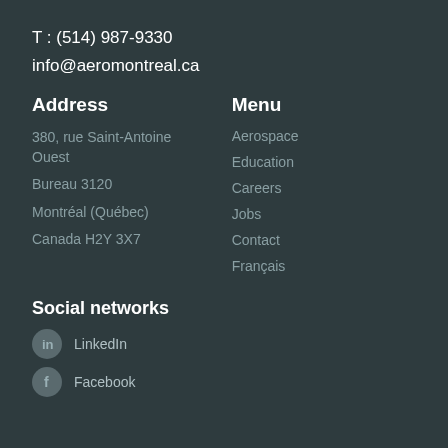T : (514) 987-9330
info@aeromontreal.ca
Address
380, rue Saint-Antoine Ouest
Bureau 3120
Montréal (Québec)
Canada H2Y 3X7
Menu
Aerospace
Education
Careers
Jobs
Contact
Français
Social networks
LinkedIn
Facebook